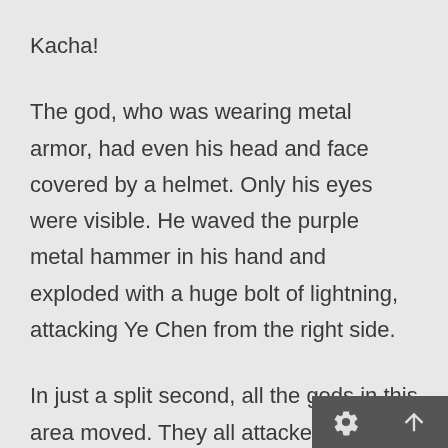Kacha!
The god, who was wearing metal armor, had even his head and face covered by a helmet. Only his eyes were visible. He waved the purple metal hammer in his hand and exploded with a huge bolt of lightning, attacking Ye Chen from the right side.
In just a split second, all the gods in this area moved. They all attacked together, using their most powerful methods to kill Ye Chen.
They did not give him a chance. They wanted to kill